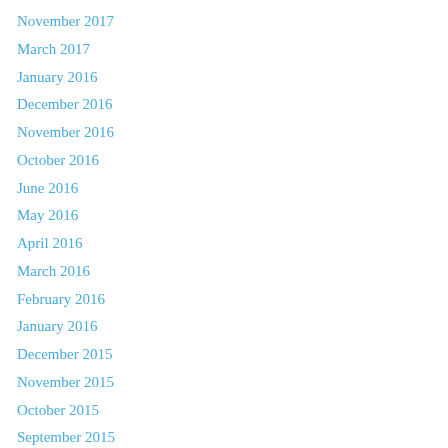November 2017
March 2017
January 2016
December 2016
November 2016
October 2016
June 2016
May 2016
April 2016
March 2016
February 2016
January 2016
December 2015
November 2015
October 2015
September 2015
August 2015
July 2015
June 2015
May 2015